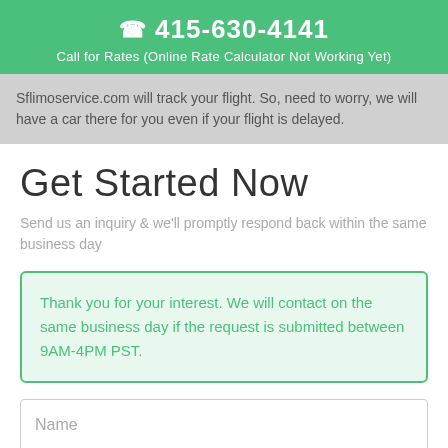☎ 415-630-4141
Call for Rates (Online Rate Calculator Not Working Yet)
Sflimoservice.com will track your flight. So, need to worry, we will have a car there for you even if your flight is delayed.
Get Started Now
Send us an inquiry & we'll promptly respond back within the same business day
Thank you for your interest. We will contact on the same business day if the request is submitted between 9AM-4PM PST.
Name
Company